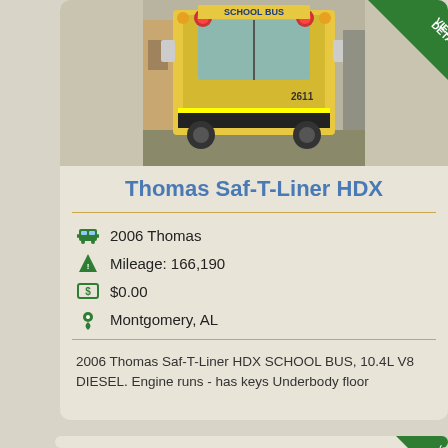[Figure (photo): Front view of a yellow school bus labeled 'SCHOOL BUS' parked outside a building]
Thomas Saf-T-Liner HDX
2006 Thomas
Mileage: 166,190
$0.00
Montgomery, AL
2006 Thomas Saf-T-Liner HDX SCHOOL BUS, 10.4L V8 DIESEL. Engine runs - has keys Underbody floor
[Figure (other): Second listing card (partial view) with VIEW DETAILS badge]